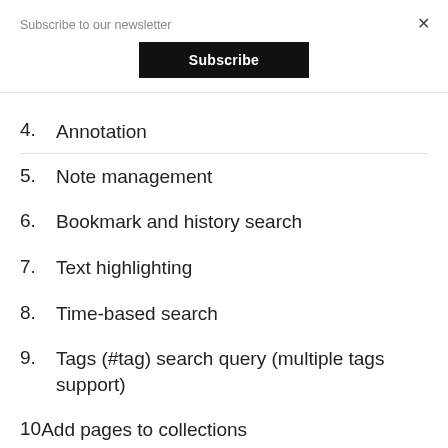Subscribe to our newsletter
Subscribe
4. Annotation
5. Note management
6. Bookmark and history search
7. Text highlighting
8. Time-based search
9. Tags (#tag) search query (multiple tags support)
10Add pages to collections